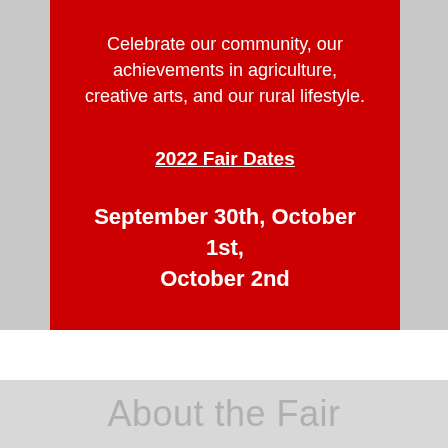Celebrate our community, our achievements in agriculture, creative arts, and our rural lifestyle.
2022 Fair Dates
September 30th, October 1st, October 2nd
About the Fair